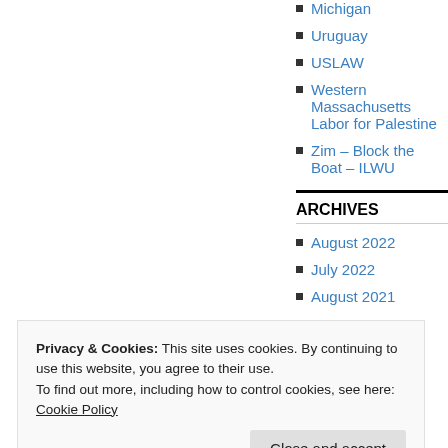Michigan
Uruguay
USLAW
Western Massachusetts Labor for Palestine
Zim – Block the Boat – ILWU
ARCHIVES
August 2022
July 2022
August 2021
Privacy & Cookies: This site uses cookies. By continuing to use this website, you agree to their use.
To find out more, including how to control cookies, see here: Cookie Policy
Close and accept